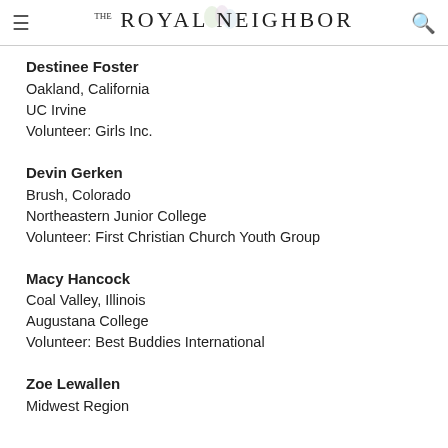the Royal Neighbor
Destinee Foster
Oakland, California
UC Irvine
Volunteer: Girls Inc.
Devin Gerken
Brush, Colorado
Northeastern Junior College
Volunteer: First Christian Church Youth Group
Macy Hancock
Coal Valley, Illinois
Augustana College
Volunteer: Best Buddies International
Zoe Lewallen
Midwest Region